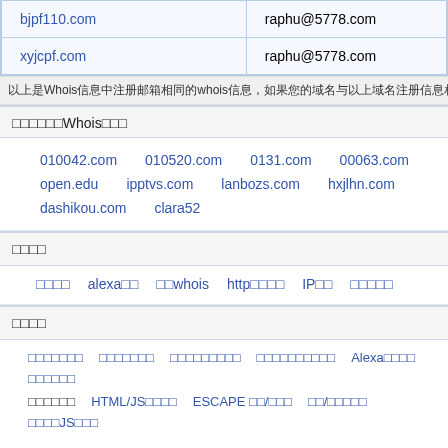| 域名 | 邮箱 |
| --- | --- |
| bjpf110.com | raphu@5778.com |
| xyjcpf.com | raphu@5778.com |
以上是Whois信息中注册邮箱相同的whois信息，如果您的域名与以上域名注册信息相同，很可能是同一个人注册，更多相同whois
使用相同Whois注册的
010042.com  010520.com  0131.com  00063.com  open.edu  ipptvs.com  lanbozs.com  hxjlhn.com  dashikou.com  clara52
工具箱
域名查询  alexa查询  批whois  http状态查询  IP查询  网站编码查询
友情链接
域名交易平台  网络安全导航  网络安全技术交流  全球网络安全导航  Alexa流量权重  在线工具大全
网站地图  HTML/JS压缩  ESCAPE 加/解密  加/解密工具  在线JS格式